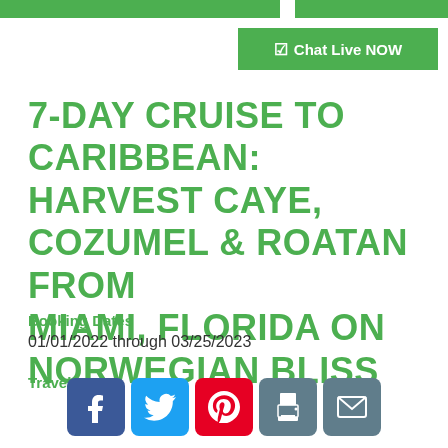[Figure (other): Chat Live NOW green button with checkbox icon]
7-DAY CRUISE TO CARIBBEAN: HARVEST CAYE, COZUMEL & ROATAN FROM MIAMI, FLORIDA ON NORWEGIAN BLISS
Booking Dates
01/01/2022 through 03/25/2023
Travel Dates
[Figure (other): Social sharing icons: Facebook, Twitter, Pinterest, Print, Email]